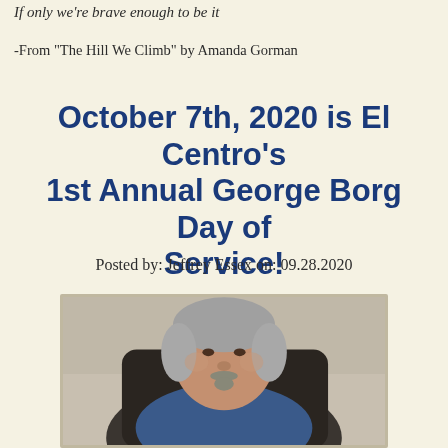If only we're brave enough to be it
-From “The Hill We Climb” by Amanda Gorman
October 7th, 2020 is El Centro’s 1st Annual George Borg Day of Service!
Posted by: Jeffrey Essex on: 09.28.2020
[Figure (photo): Portrait photograph of an older man with gray hair and a goatee, wearing a blue shirt, seated in a dark chair, photographed indoors]